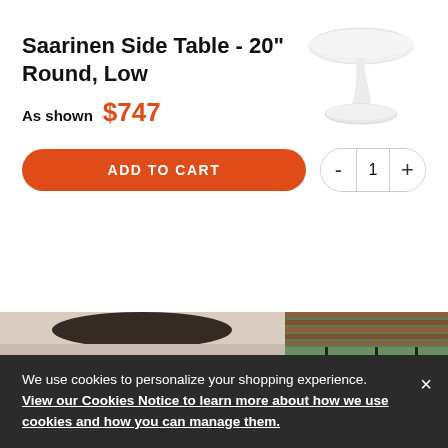[Figure (photo): White round tulip side table product shot on white background]
Saarinen Side Table - 20" Round, Low
As shown  $747
ADD TO CART  -  1  +
[Figure (photo): Close-up blurred dark wood surface]
[Figure (photo): Interior room with wooden slat ceiling and floor-to-ceiling windows with greenery outside]
[Figure (photo): Interior room with circular wall art and curtains]
[Figure (photo): Outdoor or window view with greenery]
We use cookies to personalize your shopping experience.  View our Cookies Notice to learn more about how we use cookies and how you can manage them.